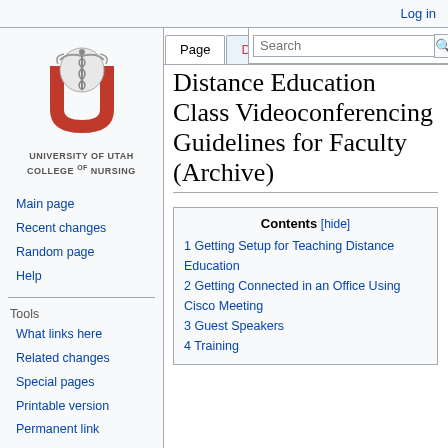Log in
[Figure (logo): University of Utah College of Nursing logo with caduceus emblem and red U shape]
UNIVERSITY OF UTAH
COLLEGE OF NURSING
Page | Discussion
Search
Main page
Recent changes
Random page
Help
Tools
What links here
Related changes
Special pages
Printable version
Permanent link
Page information
Distance Education Class Videoconferencing Guidelines for Faculty (Archive)
| Contents [hide] |
| --- |
| 1 Getting Setup for Teaching Distance Education |
| 2 Getting Connected in an Office Using Cisco Meeting |
| 3 Guest Speakers |
| 4 Training |